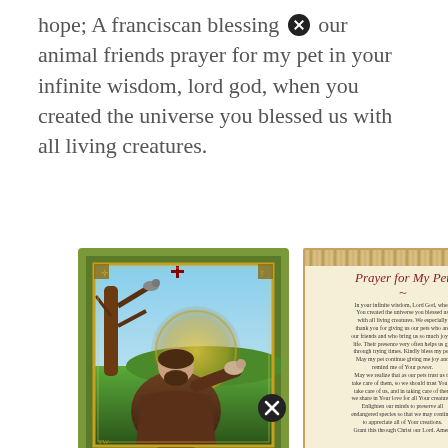hope; A franciscan blessing [x] our animal friends prayer for my pet in your infinite wisdom, lord god, when you created the universe you blessed us with all living creatures.
[Figure (illustration): Two religious prayer cards side by side. Left card shows an illustrated image of Saint Francis of Assisi in brown robes holding a small animal, set against a landscape with a tree and golden halo, within an ornate gold and green border. Right card shows the 'Prayer for My Pet' text on a parchment-colored background with a decorative banner at top. A close/cancel icon (circled X) appears between the cards at the bottom.]